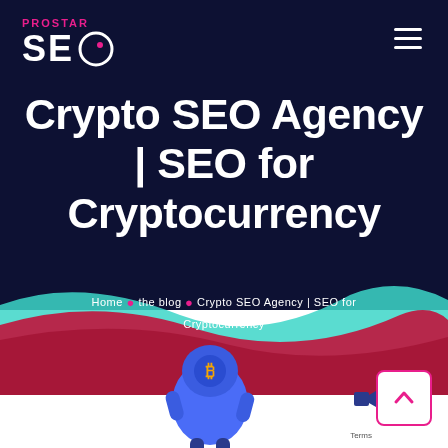[Figure (screenshot): ProStar SEO logo in top left: PROSTAR in pink small caps above large white SEO text with a circular icon in the O. Hamburger menu icon top right.]
Crypto SEO Agency | SEO for Cryptocurrency
[Figure (illustration): Decorative wave/ribbon banner in teal and red/pink colors beneath the title, serving as background for breadcrumb navigation.]
Home • the blog • Crypto SEO Agency | SEO for Cryptocurrency
[Figure (illustration): Partial crypto character illustration at bottom center — blue robot/figure with Bitcoin symbol, partially cropped. Scroll-to-top button on bottom right with pink border and up arrow.]